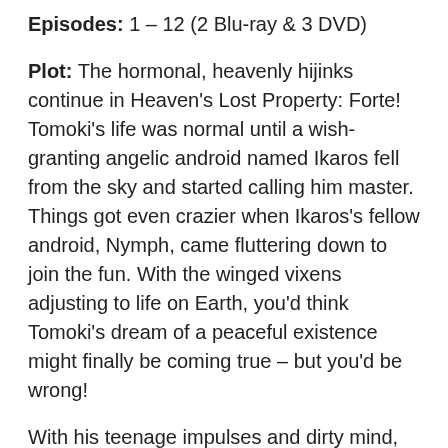Episodes: 1 – 12 (2 Blu-ray & 3 DVD)
Plot: The hormonal, heavenly hijinks continue in Heaven's Lost Property: Forte! Tomoki's life was normal until a wish-granting angelic android named Ikaros fell from the sky and started calling him master. Things got even crazier when Ikaros's fellow android, Nymph, came fluttering down to join the fun. With the winged vixens adjusting to life on Earth, you'd think Tomoki's dream of a peaceful existence might finally be coming true – but you'd be wrong!
With his teenage impulses and dirty mind, Tomoki's wishes are causing more chaos than ever before. Plus, there's a curvy new android on the scene – Astraea. She definitely looks as angelic as Ikaros and Nymph, but there's a chance the beautiful blonde newcomer is up to no good!